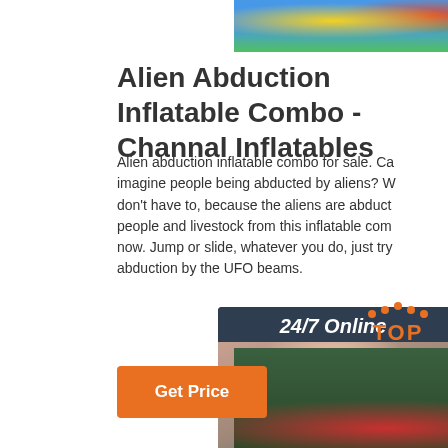[Figure (photo): Colorful inflatable combo product image at the top]
Alien Abduction Inflatable Combo - Channal Inflatables
Alien abduction inflatable combo for sale. Can you imagine people being abducted by aliens? We don't have to, because the aliens are abduct people and livestock from this inflatable combo now. Jump or slide, whatever you do, just try abduction by the UFO beams.
[Figure (photo): 24/7 Online customer service chat widget with woman wearing headset]
[Figure (illustration): TOP logo with orange dots above letters]
[Figure (photo): Bottom product photo showing inflatable combo in outdoor setting]